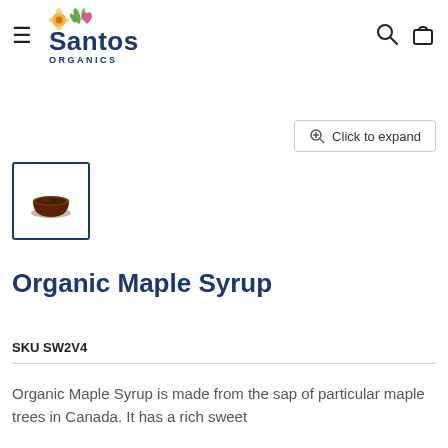Santos Organics
[Figure (photo): Small bowl of dark brown organic maple syrup, thumbnail image with dark navy blue border]
[Figure (screenshot): Click to expand button with magnifying glass plus icon]
Organic Maple Syrup
SKU SW2V4
Organic Maple Syrup is made from the sap of particular maple trees in Canada. It has a rich sweet